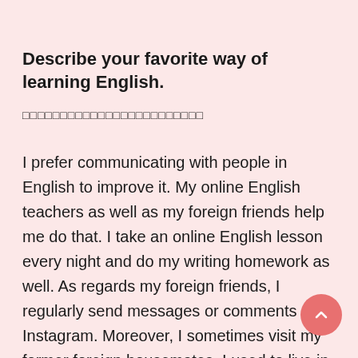Describe your favorite way of learning English.
□□□□□□□□□□□□□□□□□□□□□□□□
I prefer communicating with people in English to improve it. My online English teachers as well as my foreign friends help me do that. I take an online English lesson every night and do my writing homework as well. As regards my foreign friends, I regularly send messages or comments on Instagram. Moreover, I sometimes visit my former foreign housemates. I used to live in a share house in Tokyo, and there are many foreign residents. I left